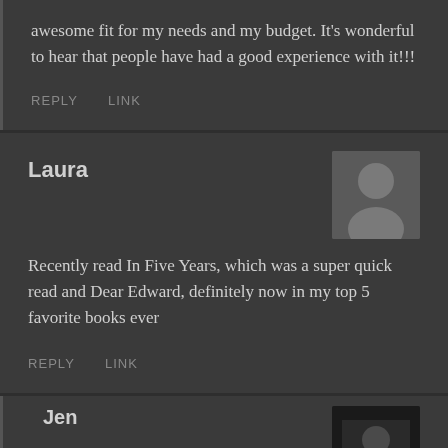awesome fit for my needs and my budget. It's wonderful to hear that people have had a good experience with it!!!
REPLY   LINK
Laura
[Figure (illustration): Gray placeholder avatar silhouette of a person]
Recently read In Five Years, which was a super quick read and Dear Edward, definitely now in my top 5 favorite books ever
REPLY   LINK
Jen
[Figure (photo): Small photo of a person, dark background]
Awesome, thank you for sharing Laura!!!